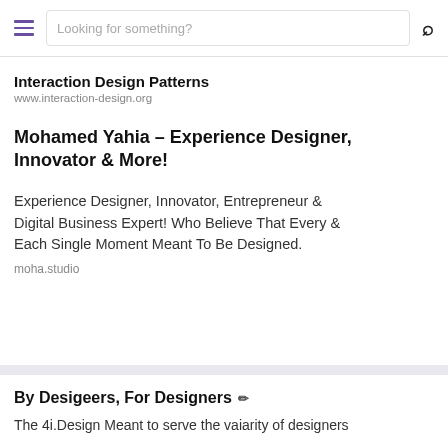Looking for something?
Interaction Design Patterns
www.interaction-design.org
Mohamed Yahia – Experience Designer, Innovator & More!
Experience Designer, Innovator, Entrepreneur & Digital Business Expert! Who Believe That Every & Each Single Moment Meant To Be Designed.
moha.studio
By Desigeers, For Designers ✏
The 4i.Design Meant to serve the vaiarity of designers